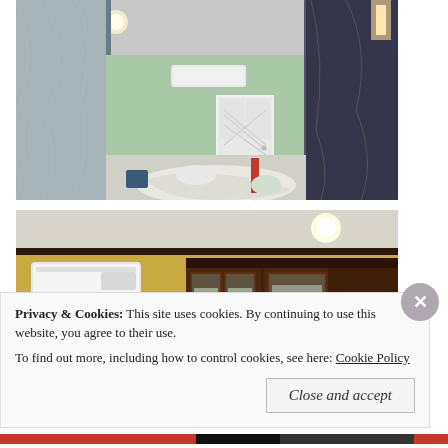[Figure (photo): Interior room during renovation with plastic sheeting covering walls, furniture covered in drop cloths, recessed lighting, a white door in background, and various tools/supplies on floor.]
[Figure (photo): Renovated interior room showing yellow walls, a mini-split air conditioning unit on the wall, a white door, and dark wood cabinets with glass doors on the right side.]
Privacy & Cookies: This site uses cookies. By continuing to use this website, you agree to their use.
To find out more, including how to control cookies, see here: Cookie Policy